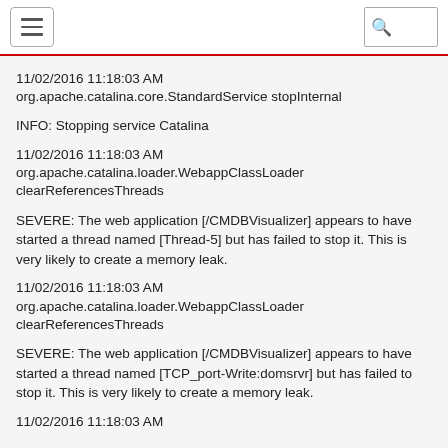[hamburger menu] [search]
11/02/2016 11:18:03 AM
org.apache.catalina.core.StandardService stopInternal
INFO: Stopping service Catalina
11/02/2016 11:18:03 AM
org.apache.catalina.loader.WebappClassLoader clearReferencesThreads
SEVERE: The web application [/CMDBVisualizer] appears to have started a thread named [Thread-5] but has failed to stop it. This is very likely to create a memory leak.
11/02/2016 11:18:03 AM
org.apache.catalina.loader.WebappClassLoader clearReferencesThreads
SEVERE: The web application [/CMDBVisualizer] appears to have started a thread named [TCP_port-Write:domsrvr] but has failed to stop it. This is very likely to create a memory leak.
11/02/2016 11:18:03 AM...